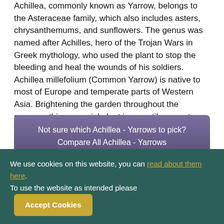Achillea, commonly known as Yarrow, belongs to the Asteraceae family, which also includes asters, chrysanthemums, and sunflowers. The genus was named after Achilles, hero of the Trojan Wars in Greek mythology, who used the plant to stop the bleeding and heal the wounds of his soldiers. Achillea millefolium (Common Yarrow) is native to most of Europe and temperate parts of Western Asia. Brightening the garden throughout the summer, this perennial plant is versatile, easy to propagate and available in a wide range of sizes and colors.
Not sure which Achillea - Yarrows to pick?
Compare All Achillea - Yarrows
Buy Achillea millefolium 'Strawberry Seduction' (Yarrow)
We use cookies on this website, you can read about them here. To use the website as intended please Accept Cookies.